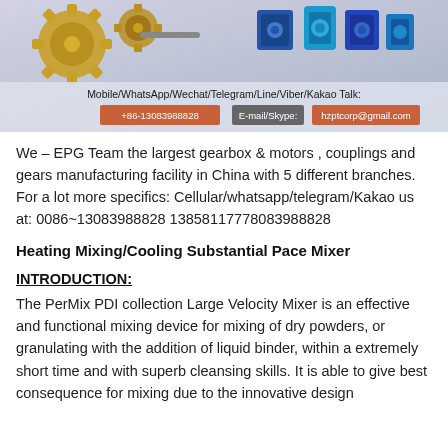[Figure (illustration): Company banner showing gears, gearboxes and motors products with contact information including phone number +86-13083988828, email hzptcorp@gmail.com, and communication platforms Mobile/WhatsApp/Wechat/Telegram/Line/Viber/Kakao Talk]
We – EPG Team the largest gearbox & motors , couplings and gears manufacturing facility in China with 5 different branches. For a lot more specifics: Cellular/whatsapp/telegram/Kakao us at: 0086~13083988828 13858117778083988828
Heating Mixing/Cooling Substantial Pace Mixer
INTRODUCTION:
The PerMix PDI collection Large Velocity Mixer is an effective and functional mixing device for mixing of dry powders, or granulating with the addition of liquid binder, within a extremely short time and with superb cleansing skills. It is able to give best consequence for mixing due to the innovative design